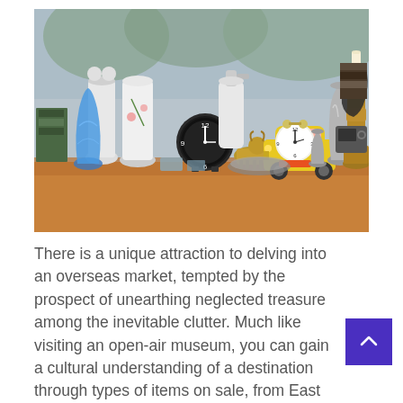[Figure (photo): A cluttered market table displaying various antique and vintage items including ceramic vases, a blue glass vase, clocks, a toy yellow Volkswagen Beetle car, brass candlesticks, silver goblets, small figurines, a soap dispenser bottle, and other collectibles arranged on an orange/brown cloth surface with blurred greenery in the background.]
There is a unique attraction to delving into an overseas market, tempted by the prospect of unearthing neglected treasure among the inevitable clutter. Much like visiting an open-air museum, you can gain a cultural understanding of a destination through types of items on sale, from East German-era paraphernalia to first-edition French comics ... [...]